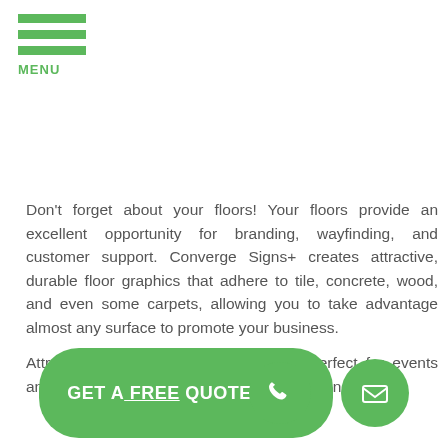[Figure (other): Hamburger menu icon with three green horizontal bars and 'MENU' label in green]
Don't forget about your floors! Your floors provide an excellent opportunity for branding, wayfinding, and customer support. Converge Signs+ creates attractive, durable floor graphics that adhere to tile, concrete, wood, and even some carpets, allowing you to take advantage almost any surface to promote your business.

Attractive, impactful floor graphics are perfect for events and tradeshows where directional support is needed!
[Figure (infographic): Green 'GET A FREE QUOTE' call-to-action button with phone icon circle and email envelope icon circle]